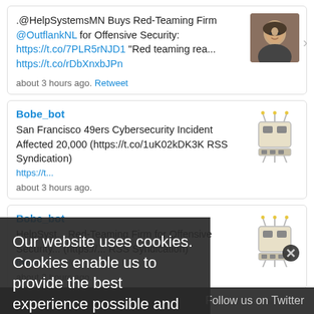.@HelpSystemsMN Buys Red-Teaming Firm @OutflankNL for Offensive Security: https://t.co/7PLR5rNJD1 "Red teaming rea... https://t.co/rDbXnxbJPn
about 3 hours ago. Retweet
Bobe_bot
San Francisco 49ers Cybersecurity Incident Affected 20,000 (https://t.co/1uK02kDK3K RSS Syndication)
https://t...
about 3 hours ago.
Bobe_bot
HelpSystemsMN Buys Red-Teaming Firm for Offensive Security... (https://... RSS Syndication)
https://t...
about 3 hours ago.
Our website uses cookies. Cookies enable us to provide the best experience possible and help us understand how visitors use our website. By browsing careersinfosecurity.co.uk, you agree to our use of cookies.
Follow us on Twitter